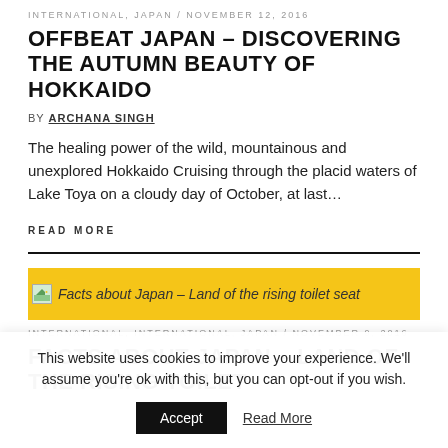INTERNATIONAL, JAPAN / NOVEMBER 12, 2016
OFFBEAT JAPAN – DISCOVERING THE AUTUMN BEAUTY OF HOKKAIDO
BY ARCHANA SINGH
The healing power of the wild, mountainous and unexplored Hokkaido Cruising through the placid waters of Lake Toya on a cloudy day of October, at last…
READ MORE
[Figure (photo): Thumbnail image for Facts about Japan – Land of the rising toilet seat, displayed on a yellow/gold background]
INTERNATIONAL, INTERNATIONAL, JAPAN / NOVEMBER 9, 2016
FACTS ABOUT JAPAN – LAND OF THE RISING TOILET
This website uses cookies to improve your experience. We'll assume you're ok with this, but you can opt-out if you wish.
Accept   Read More